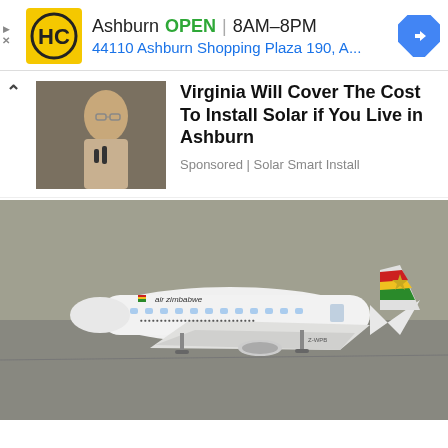[Figure (screenshot): Hairclub ad banner with yellow/black HC logo, Ashburn OPEN 8AM-8PM text, address 44110 Ashburn Shopping Plaza 190 A..., blue navigation arrow icon, and small play/X ad controls on left]
[Figure (screenshot): Sponsored content card: woman at microphone photo on left, headline 'Virginia Will Cover The Cost To Install Solar if You Live in Ashburn', Sponsored | Solar Smart Install label, with up-arrow collapse button]
Virginia Will Cover The Cost To Install Solar if You Live in Ashburn
Sponsored | Solar Smart Install
[Figure (photo): Air Zimbabwe Boeing 737 aircraft on airport tarmac, white livery with red/yellow/green stripe and star on tail fin, registration Z-WPB visible]